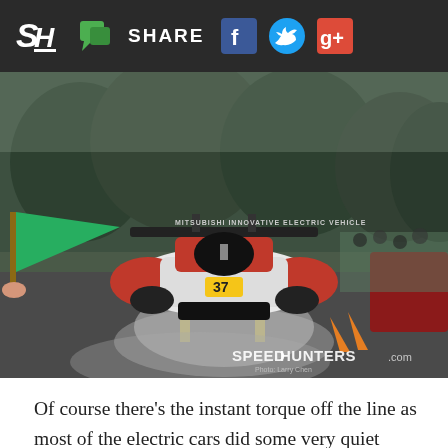SH SHARE [social icons: Facebook, Twitter, Google+]
[Figure (photo): Rear view of a Mitsubishi Innovative Electric Vehicle race car at the start line with smoke/burnout, green flag being waved on left, spectators and orange cones on right, trees in background. Speedhunters.com watermark in bottom right corner.]
Of course there's the instant torque off the line as most of the electric cars did some very quiet burnouts when the green flag dropped.